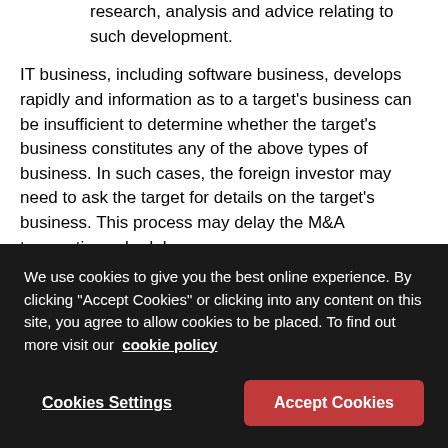research, analysis and advice relating to such development.
IT business, including software business, develops rapidly and information as to a target's business can be insufficient to determine whether the target's business constitutes any of the above types of business. In such cases, the foreign investor may need to ask the target for details on the target's business. This process may delay the M&A transaction schedule.
Prior notification process
We use cookies to give you the best online experience. By clicking "Accept Cookies" or clicking into any content on this site, you agree to allow cookies to be placed. To find out more visit our cookie policy